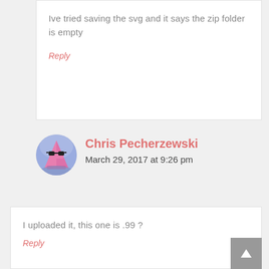Ive tried saving the svg and it says the zip folder is empty
Reply
[Figure (illustration): Circular avatar image of Chris Pecherzewski showing a pink triangle character with sunglasses on a grey/blue background]
Chris Pecherzewski
March 29, 2017 at 9:26 pm
I uploaded it, this one is .99 ?
Reply